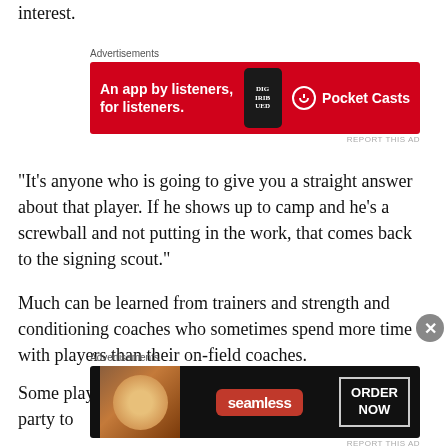interest.
[Figure (other): Pocket Casts advertisement banner: red background with text 'An app by listeners, for listeners.' and Pocket Casts logo]
“It’s anyone who is going to give you a straight answer about that player. If he shows up to camp and he’s a screwball and not putting in the work, that comes back to the signing scout.”
Much can be learned from trainers and strength and conditioning coaches who sometimes spend more time with players than their on-field coaches.
Some players may be found to be a little immature or party to
[Figure (other): Seamless food delivery advertisement banner: dark background with pizza image, Seamless logo, and ORDER NOW button]